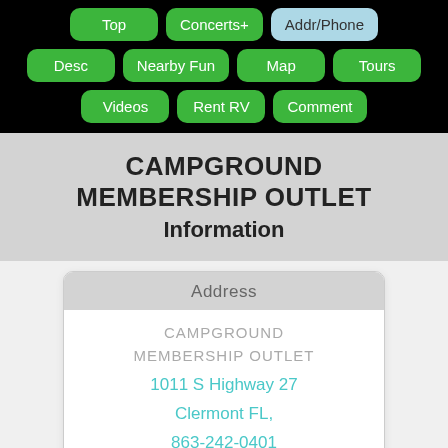[Figure (screenshot): Navigation button bar with black background showing buttons: Top, Concerts+, Addr/Phone (highlighted blue), Desc, Nearby Fun, Map, Tours, Videos, Rent RV, Comment]
CAMPGROUND MEMBERSHIP OUTLET Information
Address
CAMPGROUND MEMBERSHIP OUTLET
1011 S Highway 27
Clermont FL,
863-242-0401